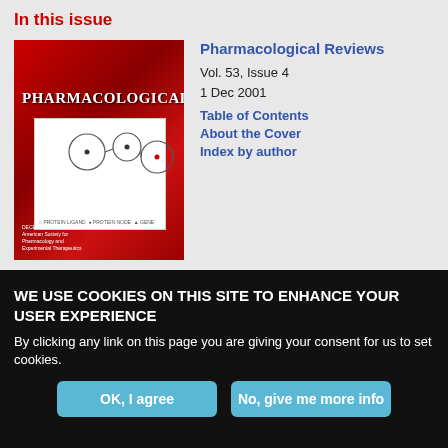In this issue
[Figure (photo): Cover of Pharmacological Reviews journal, Vol. 53 Issue 4, December 2001. Red and black cover with journal title and white inner panel showing a molecular/scientific diagram.]
Pharmacological Reviews
Vol. 53, Issue 4
1 Dec 2001
Table of Contents
About the Cover
Index by author
WE USE COOKIES ON THIS SITE TO ENHANCE YOUR USER EXPERIENCE
By clicking any link on this page you are giving your consent for us to set cookies.
OK, I agree
No, give me more info